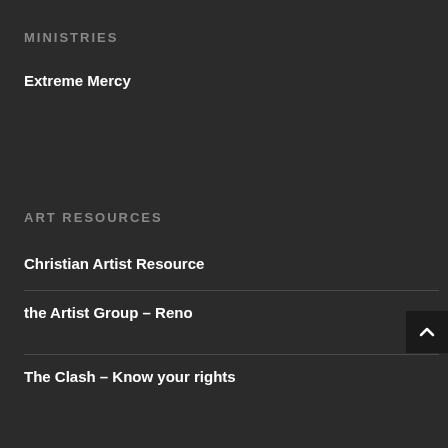MINISTRIES
Extreme Mercy
ART RESOURCES
Christian Artist Resource
the Artist Group – Reno
The Clash – Know your rights